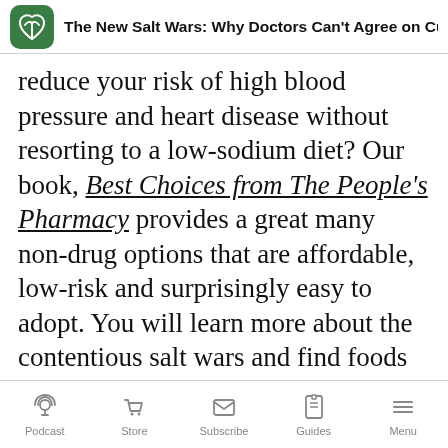The New Salt Wars: Why Doctors Can't Agree on Cu...
reduce your risk of high blood pressure and heart disease without resorting to a low-sodium diet? Our book, Best Choices from The People's Pharmacy provides a great many non-drug options that are affordable, low-risk and surprisingly easy to adopt. You will learn more about the contentious salt wars and find foods that can lower blood pressure about as well as many medications.
Podcast | Store | Subscribe | Guides | Menu